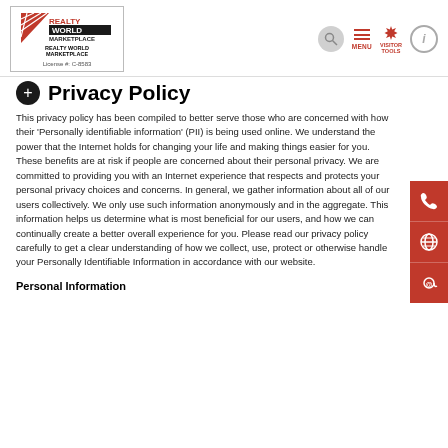[Figure (logo): Realty World Marketplace logo with red diagonal stripes and text. Below: 'REALTY WORLD MARKETPLACE' and 'License #: C-8583']
[Figure (infographic): Navigation bar icons: search (magnifying glass in grey circle), MENU (hamburger icon in red), VISITOR TOOLS (gear icon in red), info (i in grey circle)]
Privacy Policy
This privacy policy has been compiled to better serve those who are concerned with how their 'Personally identifiable information' (PII) is being used online. We understand the power that the Internet holds for changing your life and making things easier for you. These benefits are at risk if people are concerned about their personal privacy. We are committed to providing you with an Internet experience that respects and protects your personal privacy choices and concerns. In general, we gather information about all of our users collectively. We only use such information anonymously and in the aggregate. This information helps us determine what is most beneficial for our users, and how we can continually create a better overall experience for you. Please read our privacy policy carefully to get a clear understanding of how we collect, use, protect or otherwise handle your Personally Identifiable Information in accordance with our website.
Personal Information